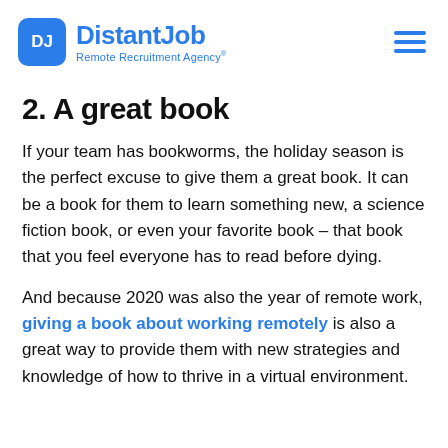DistantJob Remote Recruitment Agency
2. A great book
If your team has bookworms, the holiday season is the perfect excuse to give them a great book. It can be a book for them to learn something new, a science fiction book, or even your favorite book – that book that you feel everyone has to read before dying.
And because 2020 was also the year of remote work, giving a book about working remotely is also a great way to provide them with new strategies and knowledge of how to thrive in a virtual environment.